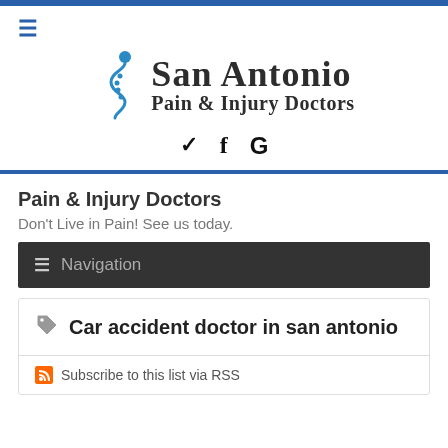[Figure (logo): San Antonio Pain & Injury Doctors logo with blue spine/figure icon and serif text]
♦ f G (social media icons: Twitter, Facebook, Google)
Pain & Injury Doctors
Don't Live in Pain! See us today.
≡ Navigation
Car accident doctor in san antonio
Subscribe to this list via RSS